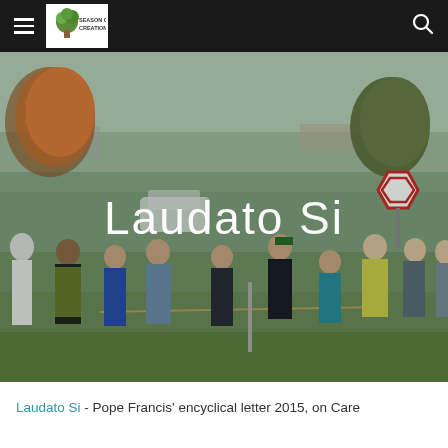Season of Creation — Navigation bar with hamburger menu, logo, and search icon
[Figure (photo): Outdoor scene showing a group of people in high-visibility vests and casual clothes gathered around a roped-off area in a park or open space on a sunny day with autumn trees in the background. Text overlay reads 'Laudato Si'.]
Laudato Si
Laudato Si - Pope Francis' encyclical letter 2015, on Care